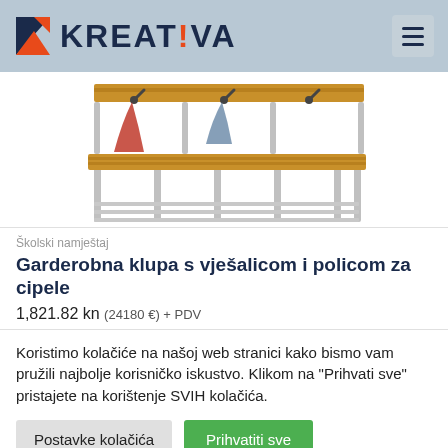KREAT!VA
[Figure (photo): Photo of a school cloakroom bench with coat hooks above and a shoe shelf below, metal frame with wooden seat.]
Školski namještaj
Garderobna klupa s vješalicom i policom za cipele
1,821.82 kn (241.80 €) + PDV
Koristimo kolačiće na našoj web stranici kako bismo vam pružili najbolje korisničko iskustvo. Klikom na "Prihvati sve" pristajete na korištenje SVIH kolačića.
Postavke kolačića
Prihvatiti sve